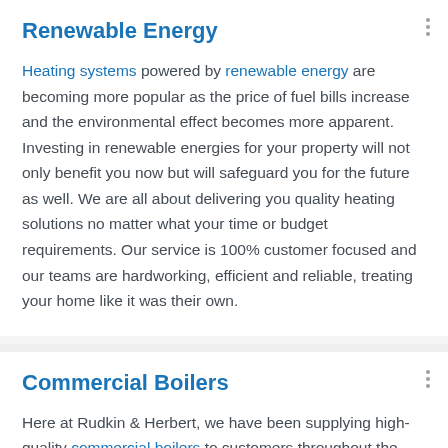Renewable Energy
Heating systems powered by renewable energy are becoming more popular as the price of fuel bills increase and the environmental effect becomes more apparent. Investing in renewable energies for your property will not only benefit you now but will safeguard you for the future as well. We are all about delivering you quality heating solutions no matter what your time or budget requirements. Our service is 100% customer focused and our teams are hardworking, efficient and reliable, treating your home like it was their own.
Commercial Boilers
Here at Rudkin & Herbert, we have been supplying high-quality commercial boilers to customers throughout the Leicestershire area since 1989. In this time we have built up a reputation for...